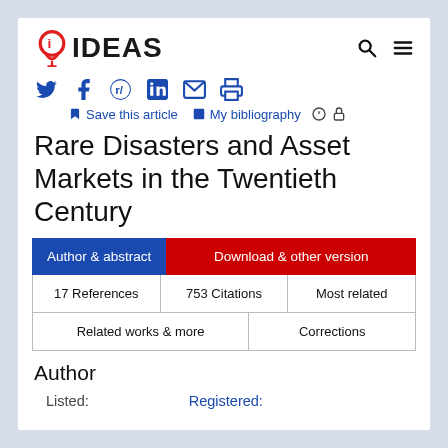[Figure (logo): IDEAS logo with red lightbulb icon and 'IDEAS' text in bold]
[Figure (infographic): Social share icons: Twitter, Facebook, Reddit, LinkedIn, Email, Print; Save this article and My bibliography links]
Rare Disasters and Asset Markets in the Twentieth Century
Author & abstract | Download & other version | 17 References | 753 Citations | Most related | Related works & more | Corrections
Author
Listed:	Registered: